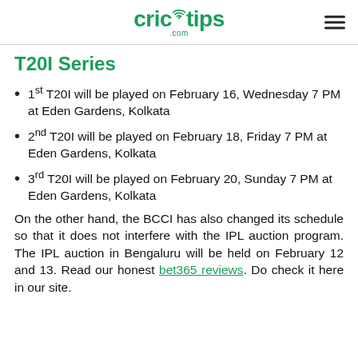crictips .com
T20I Series
1st T20I will be played on February 16, Wednesday 7 PM at Eden Gardens, Kolkata
2nd T20I will be played on February 18, Friday 7 PM at Eden Gardens, Kolkata
3rd T20I will be played on February 20, Sunday 7 PM at Eden Gardens, Kolkata
On the other hand, the BCCI has also changed its schedule so that it does not interfere with the IPL auction program. The IPL auction in Bengaluru will be held on February 12 and 13. Read our honest bet365 reviews. Do check it here in our site.